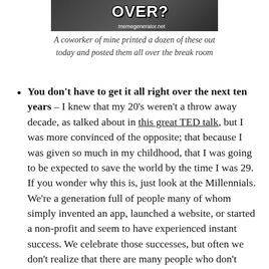[Figure (photo): Top portion of a meme image showing text 'OVER?' in bold Impact font with watermark 'memegenerator.net']
A coworker of mine printed a dozen of these out today and posted them all over the break room
You don't have to get it all right over the next ten years – I knew that my 20's weren't a throw away decade, as talked about in this great TED talk, but I was more convinced of the opposite; that because I was given so much in my childhood, that I was going to be expected to save the world by the time I was 29. If you wonder why this is, just look at the Millennials. We're a generation full of people many of whom simply invented an app, launched a website, or started a non-profit and seem to have experienced instant success. We celebrate those successes, but often we don't realize that there are many people who don't experience that kind of success until they're in their 40s or 50s and not only is that ok, it might actually be preferable. Mark